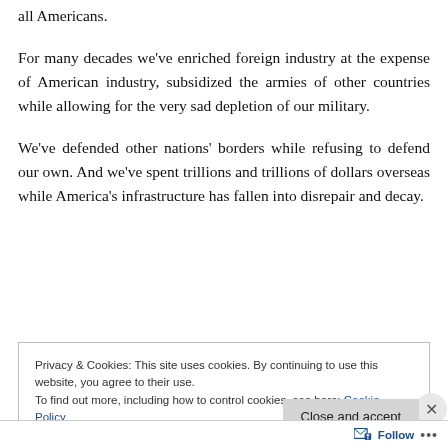all Americans.
For many decades we've enriched foreign industry at the expense of American industry, subsidized the armies of other countries while allowing for the very sad depletion of our military.
We've defended other nations' borders while refusing to defend our own. And we've spent trillions and trillions of dollars overseas while America's infrastructure has fallen into disrepair and decay.
Privacy & Cookies: This site uses cookies. By continuing to use this website, you agree to their use.
To find out more, including how to control cookies, see here: Cookie Policy
Close and accept
Follow ...